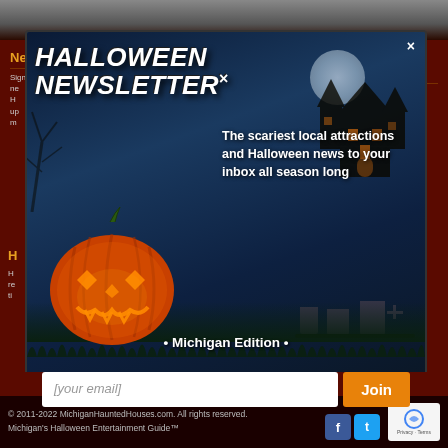[Figure (screenshot): Top banner strip showing dark landscape silhouette]
Newsletter
About MichiganHauntedHouses.com
Sign up for our ne... H... up... m...
Founded in 2011, MichiganHauntedHouses.com
[Figure (screenshot): Halloween Newsletter modal popup with pumpkin and haunted house background. Title: HALLOWEEN NEWSLETTER with X close button. Text: The scariest local attractions and Halloween news to your inbox all season long. Michigan Edition. Email input field with Join button.]
Haunt Fans: Log In • Sign Up
© 2011-2022 MichiganHauntedHouses.com. All rights reserved. Michigan's Halloween Entertainment Guide™